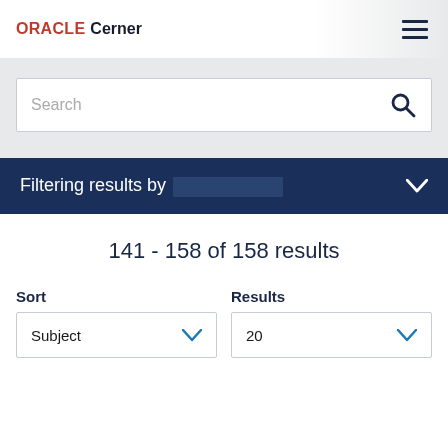ORACLE Cerner
Search
Filtering results by
141 - 158 of 158 results
Sort
Subject
Results
20